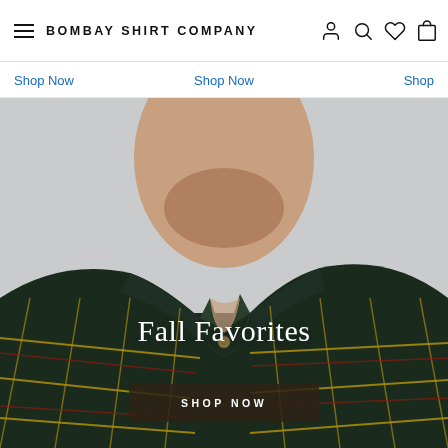BOMBAY SHIRT COMPANY
Shop Now   Shop Now   Shop
[Figure (photo): Close-up photo of a man from chin to chest wearing a dark plaid flannel shirt with button-down collar, gold/yellow and red plaid pattern on dark navy/green background. The man has stubble and is photographed against a light grey background.]
Fall Favorites
SHOP NOW